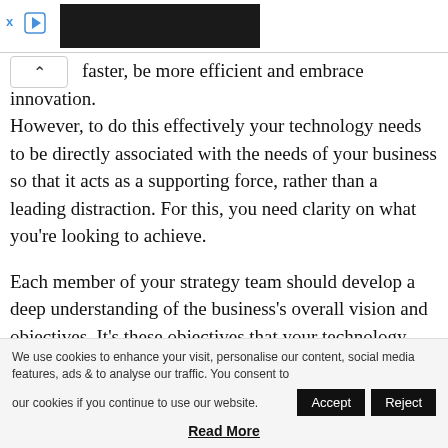[Figure (other): Advertisement bar with black block and play button icon at top of page]
faster, be more efficient and embrace innovation. However, to do this effectively your technology needs to be directly associated with the needs of your business so that it acts as a supporting force, rather than a leading distraction. For this, you need clarity on what you're looking to achieve.
Each member of your strategy team should develop a deep understanding of the business's overall vision and objectives. It's these objectives that your technology strategy needs to enable progress towards.
Enable effective communication
We use cookies to enhance your visit, personalise our content, social media features, ads & to analyse our traffic. You consent to our cookies if you continue to use our website.
Read More